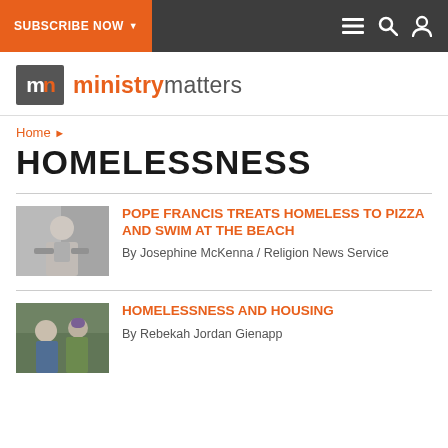SUBSCRIBE NOW
[Figure (logo): Ministry Matters logo with mm icon and text]
Home
HOMELESSNESS
[Figure (photo): Photo of Pope Francis at podium waving]
POPE FRANCIS TREATS HOMELESS TO PIZZA AND SWIM AT THE BEACH
By Josephine McKenna / Religion News Service
[Figure (photo): Photo of two young people outdoors wearing winter clothing]
HOMELESSNESS AND HOUSING
By Rebekah Jordan Gienapp